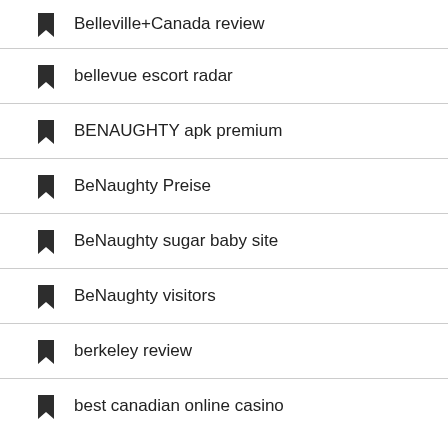Belleville+Canada review
bellevue escort radar
BENAUGHTY apk premium
BeNaughty Preise
BeNaughty sugar baby site
BeNaughty visitors
berkeley review
best canadian online casino